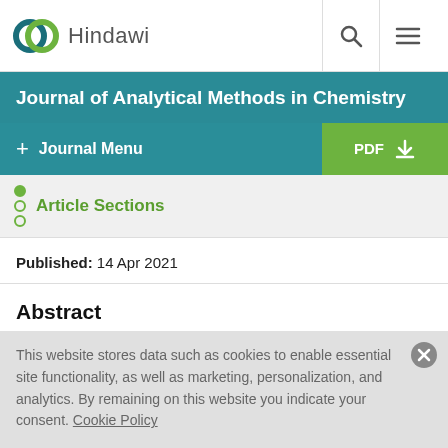Hindawi
Journal of Analytical Methods in Chemistry
+ Journal Menu
Article Sections
Published: 14 Apr 2021
Abstract
This website stores data such as cookies to enable essential site functionality, as well as marketing, personalization, and analytics. By remaining on this website you indicate your consent. Cookie Policy